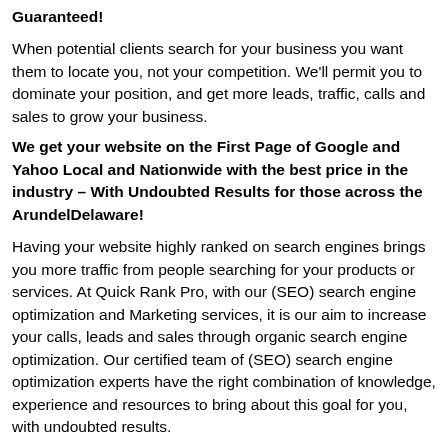Guaranteed!
When potential clients search for your business you want them to locate you, not your competition. We'll permit you to dominate your position, and get more leads, traffic, calls and sales to grow your business.
We get your website on the First Page of Google and Yahoo Local and Nationwide with the best price in the industry – With Undoubted Results for those across the ArundelDelaware!
Having your website highly ranked on search engines brings you more traffic from people searching for your products or services. At Quick Rank Pro, with our (SEO) search engine optimization and Marketing services, it is our aim to increase your calls, leads and sales through organic search engine optimization. Our certified team of (SEO) search engine optimization experts have the right combination of knowledge, experience and resources to bring about this goal for you, with undoubted results.